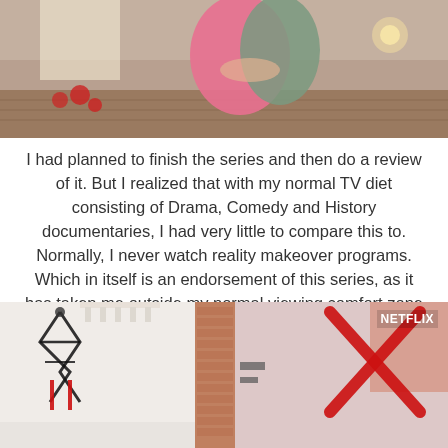[Figure (photo): Photo showing two people embracing or hugging, one wearing pink and one wearing grey, in a decorated room with candles and flowers]
I had planned to finish the series and then do a review of it. But I realized that with my normal TV diet consisting of Drama, Comedy and History documentaries, I had very little to compare this to. Normally, I never watch reality makeover programs. Which in itself is an endorsement of this series, as it has taken me outside my normal viewing comfort zone and I am still enjoying it.
[Figure (screenshot): Netflix screenshot showing two rooms: on the left a dark room with rope/harness equipment on a white wall, and on the right a room with red X-shaped equipment on a pink wall. NETFLIX watermark in top right corner.]